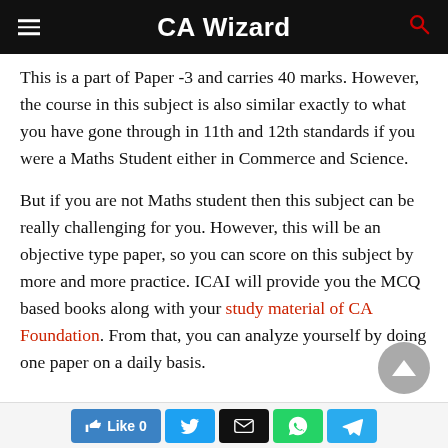CA Wizard
This is a part of Paper -3 and carries 40 marks. However, the course in this subject is also similar exactly to what you have gone through in 11th and 12th standards if you were a Maths Student either in Commerce and Science.
But if you are not Maths student then this subject can be really challenging for you. However, this will be an objective type paper, so you can score on this subject by more and more practice. ICAI will provide you the MCQ based books along with your study material of CA Foundation. From that, you can analyze yourself by doing one paper on a daily basis.
Like 0 | Twitter | Email | WhatsApp | Telegram